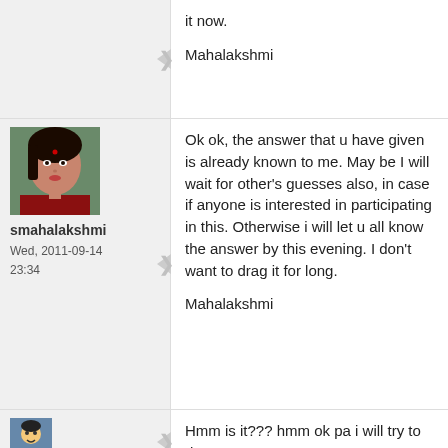it now.

Mahalakshmi
[Figure (photo): Profile photo of smahalakshmi]
smahalakshmi
Wed, 2011-09-14
23:34
Ok ok, the answer that u have given is already known to me. May be I will wait for other's guesses also, in case if anyone is interested in participating in this. Otherwise i will let u all know the answer by this evening. I don't want to drag it for long.

Mahalakshmi
[Figure (photo): Small avatar icon]
Hmm is it??? hmm ok pa i will try to do